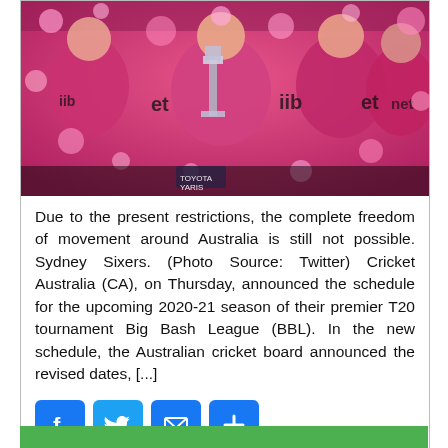[Figure (photo): Sydney Sixers cricket team celebrating with trophy, wearing pink uniforms, confetti falling, Big Bash League celebration photo]
Due to the present restrictions, the complete freedom of movement around Australia is still not possible. Sydney Sixers. (Photo Source: Twitter) Cricket Australia (CA), on Thursday, announced the schedule for the upcoming 2020-21 season of their premier T20 tournament Big Bash League (BBL). In the new schedule, the Australian cricket board announced the revised dates, [...]
[Figure (infographic): Social share buttons: Facebook, Twitter, Email, Add/Plus buttons in blue]